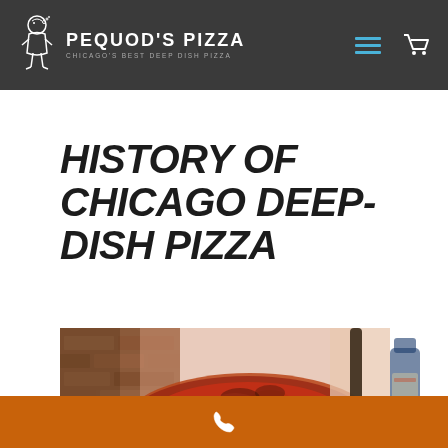PEQUOD'S PIZZA — CHICAGO'S BEST DEEP DISH PIZZA
HISTORY OF CHICAGO DEEP-DISH PIZZA
[Figure (photo): Close-up photo of a Chicago deep-dish pizza being served with a spatula, showing thick caramelized crust with tomato sauce and toppings]
Phone contact bar (orange)